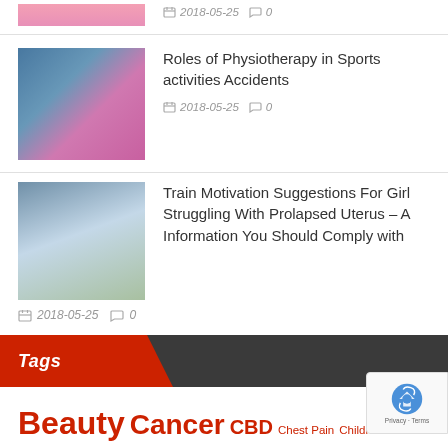[Figure (photo): Partial thumbnail of a pink-themed image at top, cropped]
2018-05-25   0
[Figure (photo): Person doing physiotherapy stretching exercise on a mat in gym]
Roles of Physiotherapy in Sports activities Accidents
2018-05-25   0
[Figure (photo): Smiling woman in light blue top, fitness/health setting]
Train Motivation Suggestions For Girl Struggling With Prolapsed Uterus – A Information You Should Comply with
2018-05-25   0
Tags
Beauty
Cancer
CBD
Chest Pain
Children Health
Depression and Anxiety Diseases
Drug
Fitness
Fitness Equipments
Hair Lo…
Health and Fitness
Massage
Medical